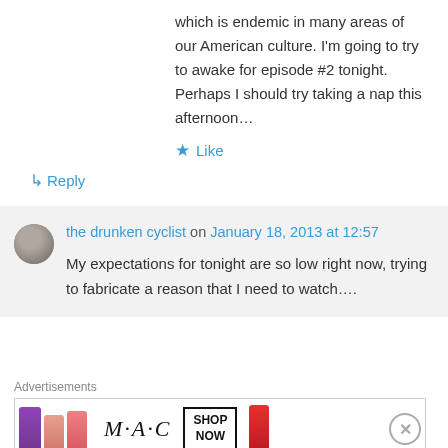which is endemic in many areas of our American culture. I'm going to try to awake for episode #2 tonight. Perhaps I should try taking a nap this afternoon…
★ Like
↳ Reply
the drunken cyclist on January 18, 2013 at 12:57
My expectations for tonight are so low right now, trying to fabricate a reason that I need to watch….
Advertisements
[Figure (other): MAC cosmetics advertisement banner showing lipsticks in purple, peach, pink, and red colors with MAC logo and SHOP NOW button]